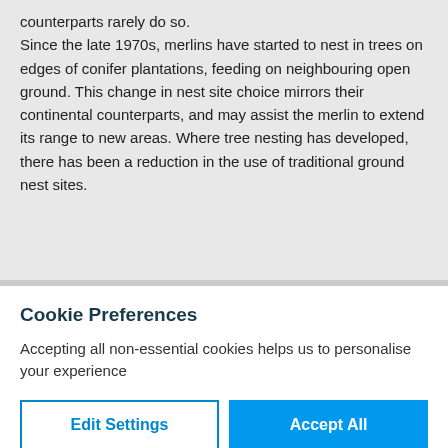counterparts rarely do so. Since the late 1970s, merlins have started to nest in trees on edges of conifer plantations, feeding on neighbouring open ground. This change in nest site choice mirrors their continental counterparts, and may assist the merlin to extend its range to new areas. Where tree nesting has developed, there has been a reduction in the use of traditional ground nest sites.
Cookie Preferences
Accepting all non-essential cookies helps us to personalise your experience
Edit Settings
Accept All